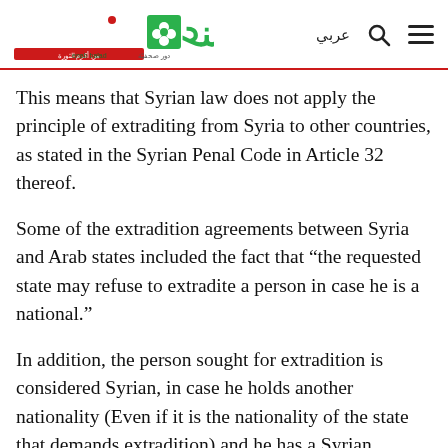Enab Baladi logo and navigation
This means that Syrian law does not apply the principle of extraditing from Syria to other countries, as stated in the Syrian Penal Code in Article 32 thereof.
Some of the extradition agreements between Syria and Arab states included the fact that “the requested state may refuse to extradite a person in case he is a national.”
In addition, the person sought for extradition is considered Syrian, in case he holds another nationality (Even if it is the nationality of the state that demands extradition) and he has a Syrian nationality. He is excluded from the extradition